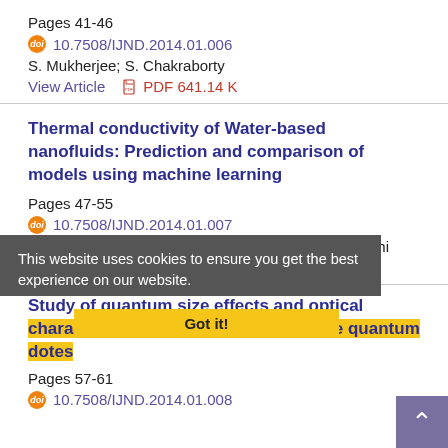Pages 41-46
10.7508/IJND.2014.01.006
S. Mukherjee; S. Chakraborty
View Article   PDF 641.14 K
Thermal conductivity of Water-based nanofluids: Prediction and comparison of models using machine learning
Pages 47-55
10.7508/IJND.2014.01.007
M. Sahooli; S. Sabbaghi; R. Maleki; M. M. Nematollahi
View Article   PDF 547.31 K
This website uses cookies to ensure you get the best experience on our website.
Got it!
Study of quantum size effects and optical characteristics in colloidal Cd1-xSnxTe quantum dotes
Pages 57-61
10.7508/IJND.2014.01.008